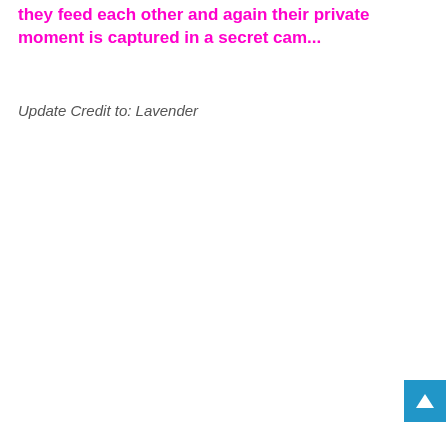they feed each other and again their private moment is captured in a secret cam...
Update Credit to: Lavender